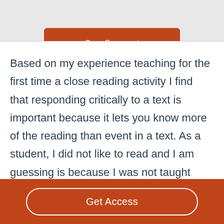[Figure (screenshot): Orange 'Open Document' button on grey background]
Based on my experience teaching for the first time a close reading activity I find that responding critically to a text is important because it lets you know more of the reading than event in a text. As a student, I did not like to read and I am guessing is because I was not taught effective reading strategies that could help me improve my reading
Get Access